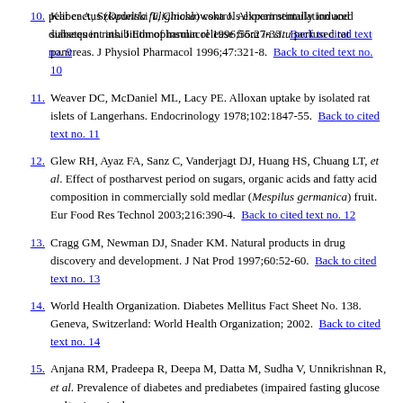pear cactus (Opuntia fuliginosa) controls experimentally induced diabetes in rats. J Ethnopharmacol 1996;55:27-33. Back to cited text no. 9
10. Kliber A, Szkudelski T, Chichlowska J. Alloxan stimulation and subsequent inhibition of insulin release from in situ perfused rat pancreas. J Physiol Pharmacol 1996;47:321-8. Back to cited text no. 10
11. Weaver DC, McDaniel ML, Lacy PE. Alloxan uptake by isolated rat islets of Langerhans. Endocrinology 1978;102:1847-55. Back to cited text no. 11
12. Glew RH, Ayaz FA, Sanz C, Vanderjagt DJ, Huang HS, Chuang LT, et al. Effect of postharvest period on sugars, organic acids and fatty acid composition in commercially sold medlar (Mespilus germanica) fruit. Eur Food Res Technol 2003;216:390-4. Back to cited text no. 12
13. Cragg GM, Newman DJ, Snader KM. Natural products in drug discovery and development. J Nat Prod 1997;60:52-60. Back to cited text no. 13
14. World Health Organization. Diabetes Mellitus Fact Sheet No. 138. Geneva, Switzerland: World Health Organization; 2002. Back to cited text no. 14
15. Anjana RM, Pradeepa R, Deepa M, Datta M, Sudha V, Unnikrishnan R, et al. Prevalence of diabetes and prediabetes (impaired fasting glucose and/or impaired